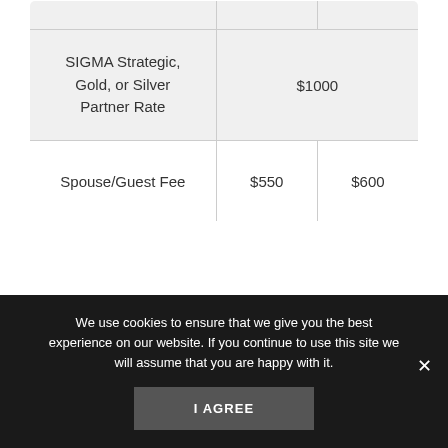|  |  |  |
| --- | --- | --- |
|  |  |  |
| SIGMA Strategic, Gold, or Silver Partner Rate |  | $1000 |
| Spouse/Guest Fee | $550 | $600 |
*Contact SIGMA at sigma@sigma.org for
We use cookies to ensure that we give you the best experience on our website. If you continue to use this site we will assume that you are happy with it.
I AGREE